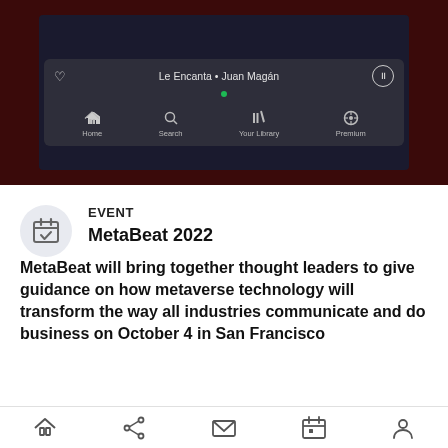[Figure (screenshot): Screenshot of a TV or monitor showing a Spotify playback bar with song 'Le Encanta • Juan Magán', playing controls (heart, pause button), and bottom navigation icons (Home, Search, Your Library, Premium). The TV is set against a dark red background.]
EVENT
MetaBeat 2022
MetaBeat will bring together thought leaders to give guidance on how metaverse technology will transform the way all industries communicate and do business on October 4 in San Francisco
Home  Share  Mail  Calendar  Profile (navigation icons)